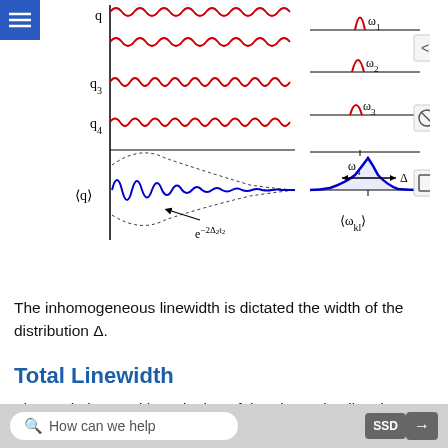[Figure (illustration): Physics diagram showing inhomogeneous broadening. Left side: multiple sinusoidal wave traces labeled q3, q4 in red, and ⟨q⟩ in blue with a dotted Gaussian envelope labeled e^{-2Δ²t²}. Right side: individual Lorentzian peaks at frequencies ω1, ω2, ω3, ω4 in red, and a broad Gaussian distribution labeled ⟨ω_kl⟩ with double-headed arrow labeled Δ in blue.]
The inhomogeneous linewidth is dictated the width of the distribution Δ.
Total Linewidth
The total observed broadening of the absorption lineshape reflects the contribution of all of those
How can we help    SSD